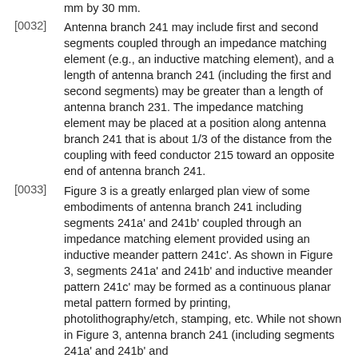mm by 30 mm.
[0032] Antenna branch 241 may include first and second segments coupled through an impedance matching element (e.g., an inductive matching element), and a length of antenna branch 241 (including the first and second segments) may be greater than a length of antenna branch 231. The impedance matching element may be placed at a position along antenna branch 241 that is about 1/3 of the distance from the coupling with feed conductor 215 toward an opposite end of antenna branch 241.
[0033] Figure 3 is a greatly enlarged plan view of some embodiments of antenna branch 241 including segments 241a' and 241b' coupled through an impedance matching element provided using an inductive meander pattern 241c'. As shown in Figure 3, segments 241a' and 241b' and inductive meander pattern 241c' may be formed as a continuous planar metal pattern formed by printing, photolithography/etch, stamping, etc. While not shown in Figure 3, antenna branch 241 (including segments 241a' and 241b' and